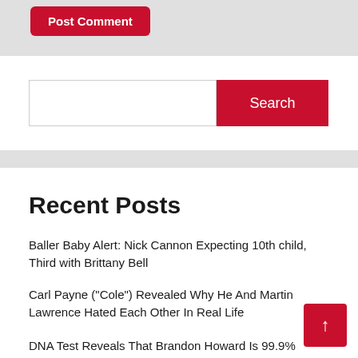Post Comment
Search
Recent Posts
Baller Baby Alert: Nick Cannon Expecting 10th child, Third with Brittany Bell
Carl Payne ("Cole") Revealed Why He And Martin Lawrence Hated Each Other In Real Life
DNA Test Reveals That Brandon Howard Is 99.9%